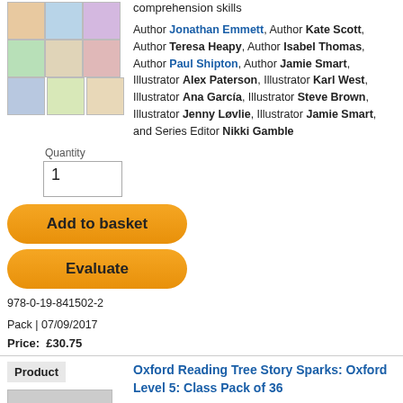comprehension skills
Author Jonathan Emmett, Author Kate Scott, Author Teresa Heapy, Author Isabel Thomas, Author Paul Shipton, Author Jamie Smart, Illustrator Alex Paterson, Illustrator Karl West, Illustrator Ana García, Illustrator Steve Brown, Illustrator Jenny Løvlie, Illustrator Jamie Smart, and Series Editor Nikki Gamble
Quantity
1
Add to basket
Evaluate
978-0-19-841502-2
Pack | 07/09/2017
Price:  £30.75
Product
Oxford Reading Tree Story Sparks: Oxford Level 5: Class Pack of 36
Stories to fire children's imaginations and deepen